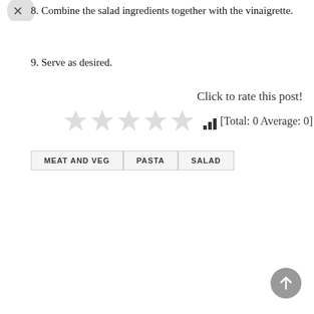8. Combine the salad ingredients together with the vinaigrette.
9. Serve as desired.
Click to rate this post!
[Figure (other): Five empty/unfilled star rating icons with a bar chart icon and text [Total: 0 Average: 0]]
MEAT AND VEG
PASTA
SALAD